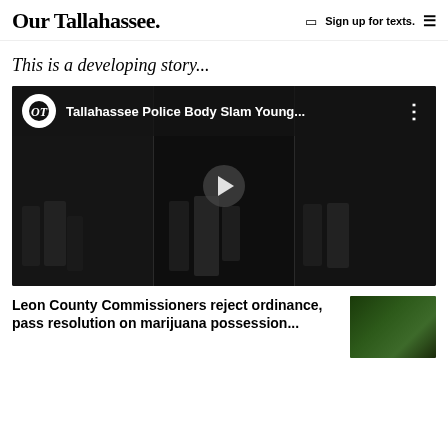Our Tallahassee.  Sign up for texts. ≡
This is a developing story...
[Figure (screenshot): YouTube-style embedded video player showing Tallahassee Police Body Slam Young... video, with OT logo, dark video frames showing police officers, and a play button in center]
Leon County Commissioners reject ordinance, pass resolution on marijuana possession...